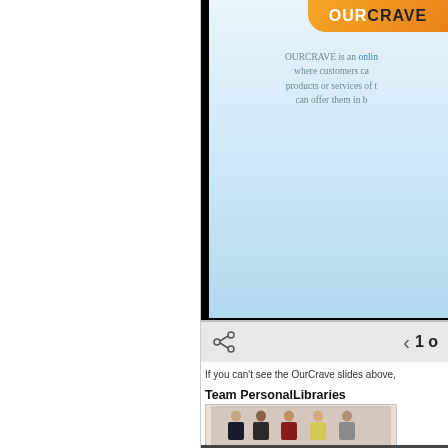[Figure (screenshot): OurCrave presentation slide showing gradient blue background with orange OurCrave logo/speech bubble at top right, and gray text describing OURCRAVE as an online platform where customers can request products or services]
[Figure (screenshot): Slide navigation bar with share icon on left and page number '1 o' (truncated) with back arrow on right, on gray background]
If you can't see the OurCrave slides above,
Team PersonalLibraries
[Figure (photo): Group photo of 5 people (Team PersonalLibraries) standing in a row against a light background]
[Figure (screenshot): Dark bar at the bottom of the page]